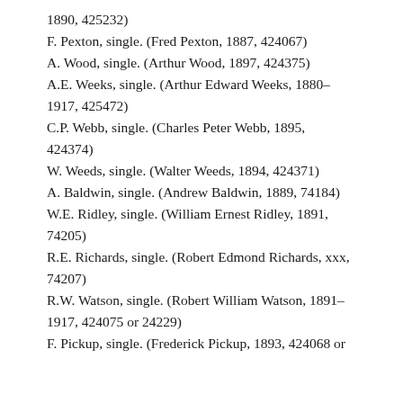1890, 425232)
F. Pexton, single. (Fred Pexton, 1887, 424067)
A. Wood, single. (Arthur Wood, 1897, 424375)
A.E. Weeks, single. (Arthur Edward Weeks, 1880–1917, 425472)
C.P. Webb, single. (Charles Peter Webb, 1895, 424374)
W. Weeds, single. (Walter Weeds, 1894, 424371)
A. Baldwin, single. (Andrew Baldwin, 1889, 74184)
W.E. Ridley, single. (William Ernest Ridley, 1891, 74205)
R.E. Richards, single. (Robert Edmond Richards, xxx, 74207)
R.W. Watson, single. (Robert William Watson, 1891–1917, 424075 or 24229)
F. Pickup, single. (Frederick Pickup, 1893, 424068 or